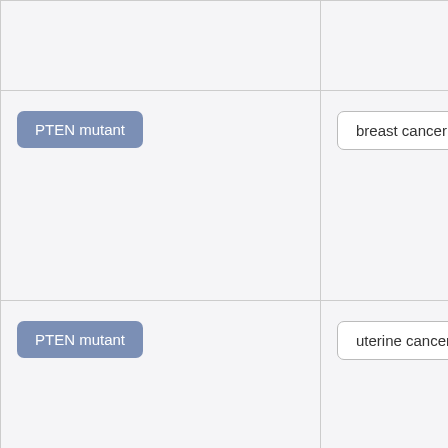|  |  |  |  |
| PTEN mutant | breast cancer | sensitive |  |
| PTEN mutant | uterine cancer | sensitive |  |